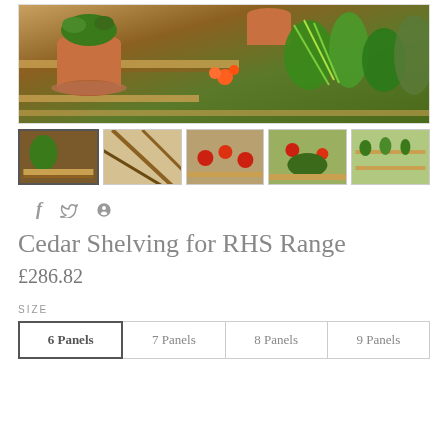[Figure (photo): Main product photo showing cedar wooden shelving inside a greenhouse with various potted plants including orange flowers and green foliage plants arranged on wooden tiered shelves]
[Figure (photo): Thumbnail 1: greenhouse shelving with plants, active/selected]
[Figure (photo): Thumbnail 2: wooden greenhouse structure frame]
[Figure (photo): Thumbnail 3: greenhouse shelving with red flowers]
[Figure (photo): Thumbnail 4: greenhouse shelving with red plants]
[Figure (photo): Thumbnail 5: greenhouse interior with rows of plants]
f  🐦  P
Cedar Shelving for RHS Range
£286.82
SIZE
6 Panels  7 Panels  8 Panels  9 Panels